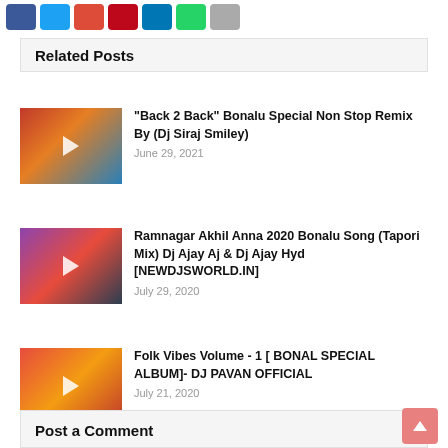[Figure (other): Social share buttons row: Facebook (blue), Twitter (light blue), Google Plus (red), Pinterest (dark red), LinkedIn (blue), WhatsApp (green), Email (gray)]
Related Posts
[Figure (photo): Video thumbnail for Back 2 Back Bonalu Special Non Stop Remix with play button overlay]
"Back 2 Back" Bonalu Special Non Stop Remix By (Dj Siraj Smiley)
June 29, 2021
[Figure (photo): Video thumbnail for Ramnagar Akhil Anna 2020 Bonalu Song with play button overlay]
Ramnagar Akhil Anna 2020 Bonalu Song (Tapori Mix) Dj Ajay Aj & Dj Ajay Hyd [NEWDJSWORLD.IN]
July 29, 2020
[Figure (photo): Video thumbnail for Folk Vibes Volume 1 Bonalu Special Album with play button overlay]
Folk Vibes Volume - 1 [ BONAL SPECIAL ALBUM]- DJ PAVAN OFFICIAL
July 21, 2020
Post a Comment